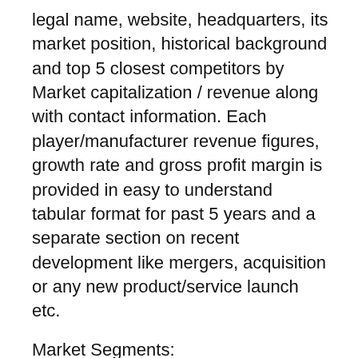legal name, website, headquarters, its market position, historical background and top 5 closest competitors by Market capitalization / revenue along with contact information. Each player/manufacturer revenue figures, growth rate and gross profit margin is provided in easy to understand tabular format for past 5 years and a separate section on recent development like mergers, acquisition or any new product/service launch etc.
Market Segments:
The Global Concentrated Photovoltaics Market has been divided into type, application, and region. On The Basis Of Type: High Concentration, Low Concentration, Refractor & Reflectors. On The Basis Of Application: Utility-Scale, Commercial & Others